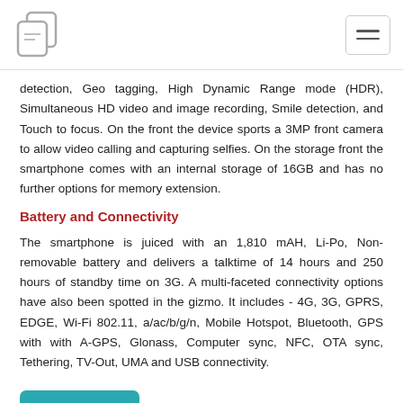detection, Geo tagging, High Dynamic Range mode (HDR), Simultaneous HD video and image recording, Smile detection, and Touch to focus. On the front the device sports a 3MP front camera to allow video calling and capturing selfies. On the storage front the smartphone comes with an internal storage of 16GB and has no further options for memory extension.
Battery and Connectivity
The smartphone is juiced with an 1,810 mAH, Li-Po, Non-removable battery and delivers a talktime of 14 hours and 250 hours of standby time on 3G. A multi-faceted connectivity options have also been spotted in the gizmo. It includes - 4G, 3G, GPRS, EDGE, Wi-Fi 802.11, a/ac/b/g/n, Mobile Hotspot, Bluetooth, GPS with with A-GPS, Glonass, Computer sync, NFC, OTA sync, Tethering, TV-Out, UMA and USB connectivity.
Contact us